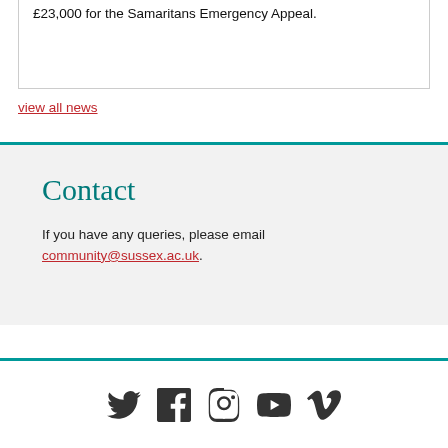Students from the Men's Rugby Club have raised over £23,000 for the Samaritans Emergency Appeal.
view all news
Contact
If you have any queries, please email community@sussex.ac.uk.
[Figure (illustration): Social media icons: Twitter, Facebook, Instagram, YouTube, Vimeo]